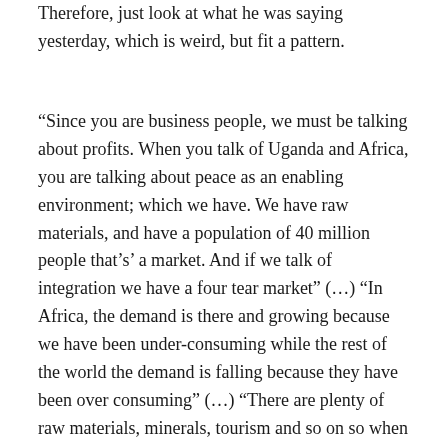Therefore, just look at what he was saying yesterday, which is weird, but fit a pattern.
“Since you are business people, we must be talking about profits. When you talk of Uganda and Africa, you are talking about peace as an enabling environment; which we have. We have raw materials, and have a population of 40 million people that’s’ a market. And if we talk of integration we have a four tear market” (…) “In Africa, the demand is there and growing because we have been under-consuming while the rest of the world the demand is falling because they have been over consuming” (…) “There are plenty of raw materials, minerals, tourism and so on so when you invest there you have access to all these” (…) “I don’t have to bother investors with taxes,